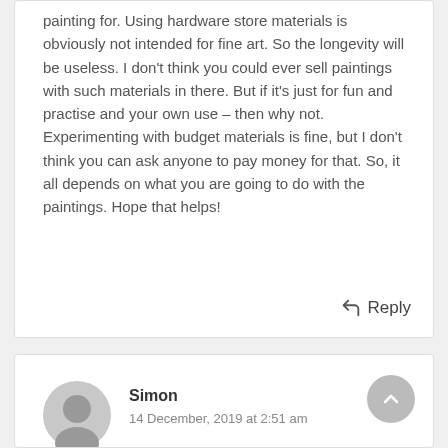painting for. Using hardware store materials is obviously not intended for fine art. So the longevity will be useless. I don't think you could ever sell paintings with such materials in there. But if it's just for fun and practise and your own use – then why not. Experimenting with budget materials is fine, but I don't think you can ask anyone to pay money for that. So, it all depends on what you are going to do with the paintings. Hope that helps!
Reply
Simon
14 December, 2019 at 2:51 am
Hi Sophie,
Great advice. I have an issue with canvas boards tho. They are pre primed, but suck up my oil paint as soon as I put it